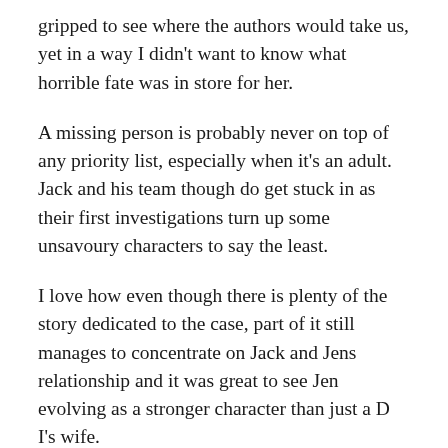gripped to see where the authors would take us, yet in a way I didn't want to know what horrible fate was in store for her.
A missing person is probably never on top of any priority list, especially when it's an adult. Jack and his team though do get stuck in as their first investigations turn up some unsavoury characters to say the least.
I love how even though there is plenty of the story dedicated to the case, part of it still manages to concentrate on Jack and Jens relationship and it was great to see Jen evolving as a stronger character than just a D I's wife.
Yet again the authors bring home to readers what it is like for the family of murder victims as